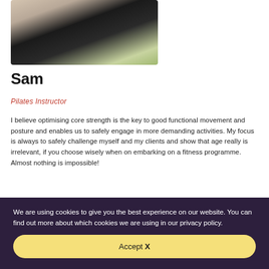[Figure (photo): Portrait photo of Sam, a woman in a black sleeveless top, with a plant in the background]
Sam
Pilates Instructor
I believe optimising core strength is the key to good functional movement and posture and enables us to safely engage in more demanding activities. My focus is always to safely challenge myself and my clients and show that age really is irrelevant, if you choose wisely when on embarking on a fitness programme. Almost nothing is impossible!
We are using cookies to give you the best experience on our website. You can find out more about which cookies we are using in our privacy policy.
Accept X